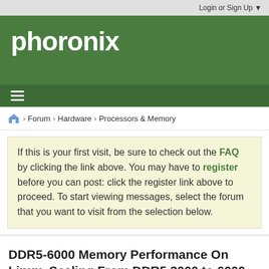Login or Sign Up ▼
[Figure (logo): Phoronix website logo in white text on green background]
Forum › Hardware › Processors & Memory
If this is your first visit, be sure to check out the FAQ by clicking the link above. You may have to register before you can post: click the register link above to proceed. To start viewing messages, select the forum that you want to visit from the selection below.
DDR5-6000 Memory Performance On Linux, Scaling From DDR5 3000 to 6000 MT/s